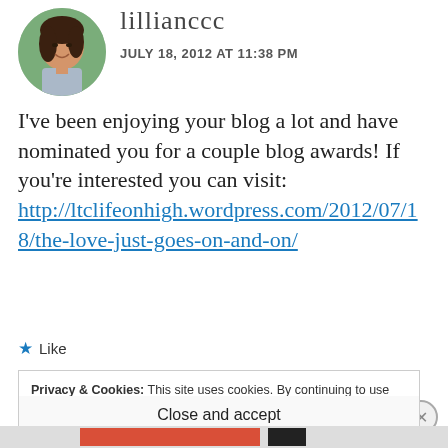[Figure (photo): Circular avatar photo of a young Asian woman smiling, outdoors background]
lillianccc
JULY 18, 2012 AT 11:38 PM
I've been enjoying your blog a lot and have nominated you for a couple blog awards! If you're interested you can visit: http://ltclifeonhigh.wordpress.com/2012/07/18/the-love-just-goes-on-and-on/
★ Like
Privacy & Cookies: This site uses cookies. By continuing to use this website, you agree to their use. To find out more, including how to control cookies, see here: Cookie Policy
Close and accept